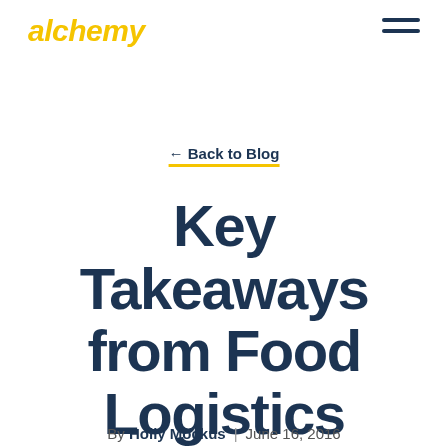alchemy
← Back to Blog
Key Takeaways from Food Logistics Forum
By Holly Mockus | June 16, 2016